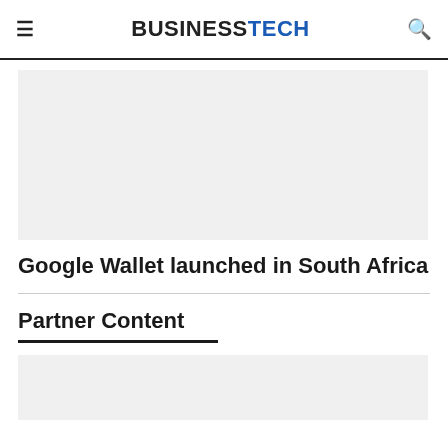BUSINESSTECH
[Figure (other): Gray placeholder image area for article content]
Google Wallet launched in South Africa
Partner Content
[Figure (other): Gray placeholder image area for partner content]